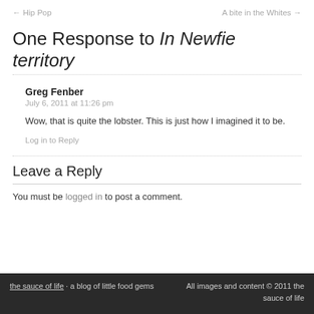← Hip Pop   A bite in the Whites →
One Response to In Newfie territory
Greg Fenber
July 6, 2011 at 11:26 pm
Wow, that is quite the lobster. This is just how I imagined it to be.
Log in to Reply
Leave a Reply
You must be logged in to post a comment.
the sauce of life · a blog of little food gems   All images and content © 2011 the sauce of life